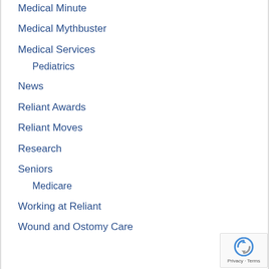Medical Minute
Medical Mythbuster
Medical Services
Pediatrics
News
Reliant Awards
Reliant Moves
Research
Seniors
Medicare
Working at Reliant
Wound and Ostomy Care